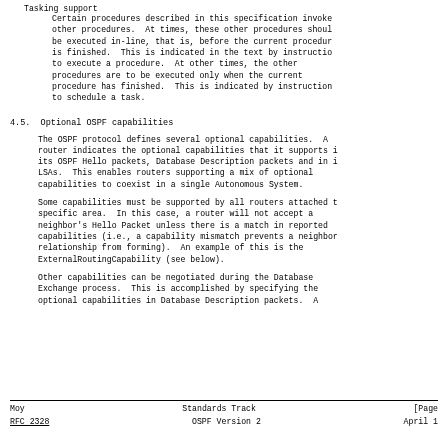Tasking support
    Certain procedures described in this specification invoke other procedures.  At times, these other procedures should be executed in-line, that is, before the current procedure is finished.  This is indicated in the text by instructions to execute a procedure.  At other times, the other procedures are to be executed only when the current procedure has finished.  This is indicated by instructions to schedule a task.
4.5.  Optional OSPF capabilities
The OSPF protocol defines several optional capabilities.  A router indicates the optional capabilities that it supports in its OSPF Hello packets, Database Description packets and in its LSAs.  This enables routers supporting a mix of optional capabilities to coexist in a single Autonomous System.
Some capabilities must be supported by all routers attached to a specific area.  In this case, a router will not accept a neighbor's Hello Packet unless there is a match in reported capabilities (i.e., a capability mismatch prevents a neighbor relationship from forming).  An example of this is the ExternalRoutingCapability (see below).
Other capabilities can be negotiated during the Database Exchange process.  This is accomplished by specifying the optional capabilities in Database Description packets.  A
Moy                         Standards Track                    [Page
RFC 2328                     OSPF Version 2                    April 1